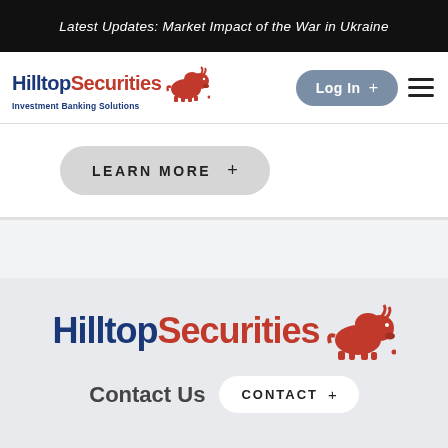Latest Updates: Market Impact of the War in Ukraine
[Figure (logo): Hilltop Securities logo with bison icon and tagline 'Investment Banking Solutions']
Log In +
LEARN MORE +
[Figure (logo): Hilltop Securities footer logo with large bison icon]
Contact Us CONTACT +